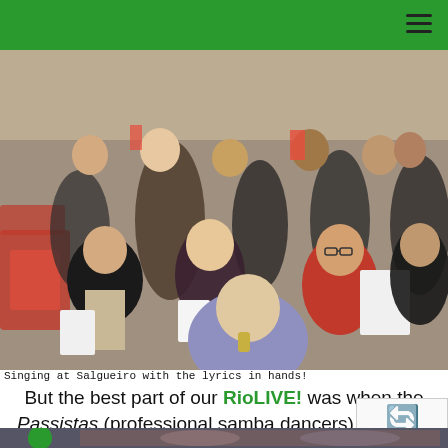[Figure (photo): Crowd of people singing at Salgueiro samba club, holding sheets of paper with lyrics, sitting and standing around red tables and chairs.]
Singing at Salgueiro with the lyrics in hands!
But the best part of our RioLIVE! was when the Passistas (professional samba dancers) came in. Check in out:
[Figure (photo): Partial view of another photo at the bottom of the page showing people at a samba event.]